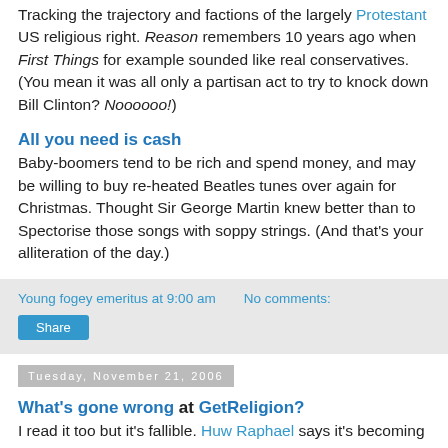Tracking the trajectory and factions of the largely Protestant US religious right. Reason remembers 10 years ago when First Things for example sounded like real conservatives. (You mean it was all only a partisan act to try to knock down Bill Clinton? Noooooo!)
All you need is cash
Baby-boomers tend to be rich and spend money, and may be willing to buy re-heated Beatles tunes over again for Christmas. Thought Sir George Martin knew better than to Spectorise those songs with soppy strings. (And that's your alliteration of the day.)
Young fogey emeritus at 9:00 am   No comments:
Share
Tuesday, November 21, 2006
What's gone wrong at GetReligion?
I read it too but it's fallible. Huw Raphael says it's becoming